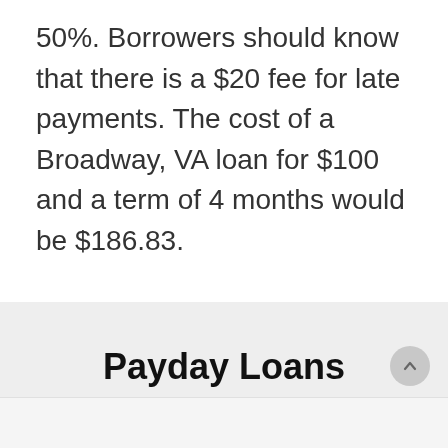50%. Borrowers should know that there is a $20 fee for late payments. The cost of a Broadway, VA loan for $100 and a term of 4 months would be $186.83.
Payday Loans Near Me in Broadway, Virginia